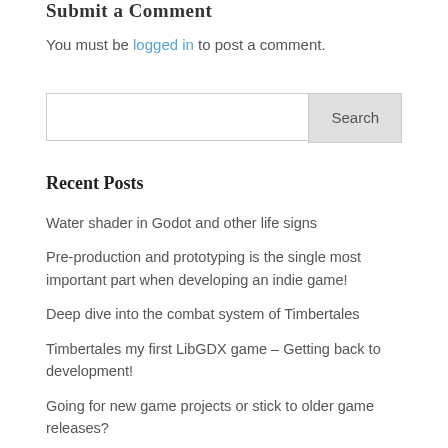Submit a Comment
You must be logged in to post a comment.
Search
Recent Posts
Water shader in Godot and other life signs
Pre-production and prototyping is the single most important part when developing an indie game!
Deep dive into the combat system of Timbertales
Timbertales my first LibGDX game – Getting back to development!
Going for new game projects or stick to older game releases?